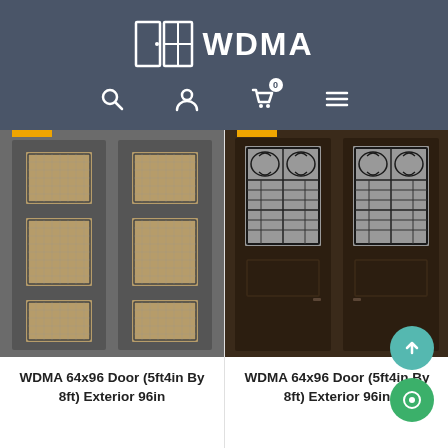[Figure (logo): WDMA logo with door/window icon on dark slate background with navigation icons (search, user, cart with 0 badge, menu)]
[Figure (photo): Gray double door with three rectangular glass panels featuring decorative mesh/woven pattern inserts]
WDMA 64x96 Door (5ft4in By 8ft) Exterior 96in
[Figure (photo): Dark brown double door with tall decorative wrought iron scroll-work glass panels and lower panels]
WDMA 64x96 Door (5ft4in By 8ft) Exterior 96in